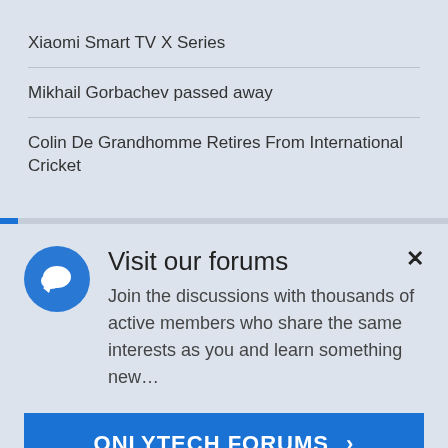Xiaomi Smart TV X Series
Mikhail Gorbachev passed away
Colin De Grandhomme Retires From International Cricket
Visit our forums
Join the discussions with thousands of active members who share the same interests as you and learn something new…
ONLYTECH FORUMS ›